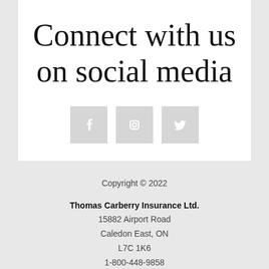Connect with us on social media
[Figure (infographic): Three social media icons in grey square boxes: Facebook (f), Instagram (camera), Twitter (bird)]
Copyright © 2022
Thomas Carberry Insurance Ltd.
15882 Airport Road
Caledon East, ON
L7C 1K6
1-800-448-9858